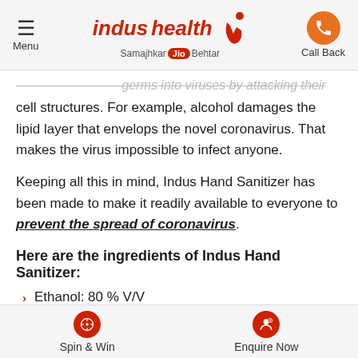Menu | Indus Health Plus - Samajhkar Jio Behtar | Call Back
cell structures. For example, alcohol damages the lipid layer that envelops the novel coronavirus. That makes the virus impossible to infect anyone.
Keeping all this in mind, Indus Hand Sanitizer has been made to make it readily available to everyone to prevent the spread of coronavirus.
Here are the ingredients of Indus Hand Sanitizer:
Ethanol: 80 % V/V
Glycerol: 1.45 % V/V
Hydrogen Peroxide: 0.125 %
Spin & Win | Enquire Now